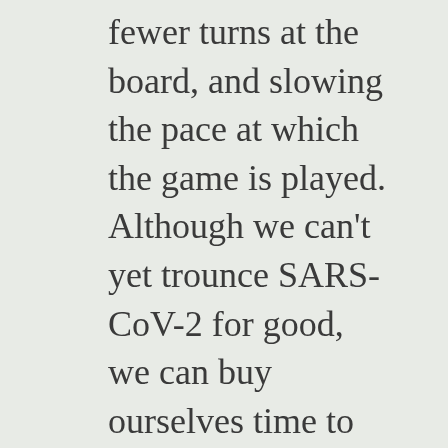fewer turns at the board, and slowing the pace at which the game is played. Although we can't yet trounce SARS-CoV-2 for good, we can buy ourselves time to make our next decisive move.
In broad strokes, the rules of evolutionary play are simple